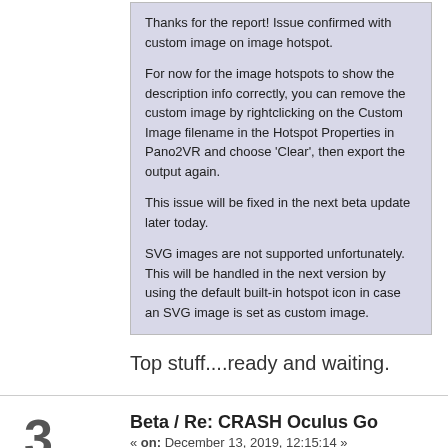Thanks for the report! Issue confirmed with custom image on image hotspot.

For now for the image hotspots to show the description info correctly, you can remove the custom image by rightclicking on the Custom Image filename in the Hotspot Properties in Pano2VR and choose 'Clear', then export the output again.

This issue will be fixed in the next beta update later today.

SVG images are not supported unfortunately. This will be handled in the next version by using the default built-in hotspot icon in case an SVG image is set as custom image.
Top stuff....ready and waiting.
Beta / Re: CRASH Oculus Go
« on: December 13, 2019, 12:15:14 »
Quote from: Ruud van Reenen on December 13, 2019, 11:35:24
Could you try uninstalling VR Tourviewer and then install it again?
The files in the VRTourviewer folder will not be affected.
Ok that has worked up to a point. Custom hotspots to a